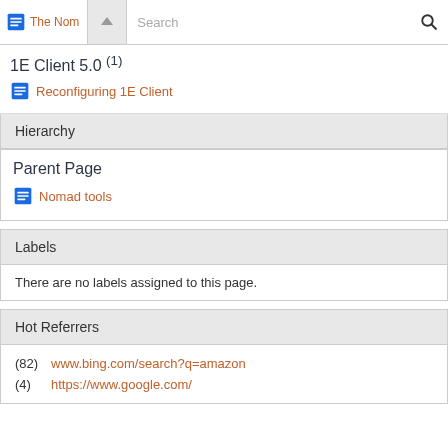The Nom... [navigation/search bar]
1E Client 5.0 (1)
Reconfiguring 1E Client
Hierarchy
Parent Page
Nomad tools
Labels
There are no labels assigned to this page.
Hot Referrers
(82) www.bing.com/search?q=amazon
(4)  https://www.google.com/